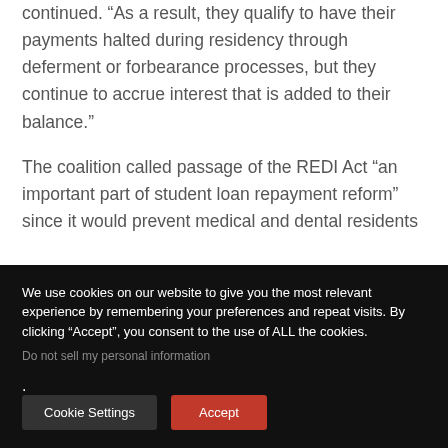continued. “As a result, they qualify to have their payments halted during residency through deferment or forbearance processes, but they continue to accrue interest that is added to their balance.”
The coalition called passage of the REDI Act “an important part of student loan repayment reform” since it would prevent medical and dental residents
We use cookies on our website to give you the most relevant experience by remembering your preferences and repeat visits. By clicking “Accept”, you consent to the use of ALL the cookies.
Do not sell my personal information.